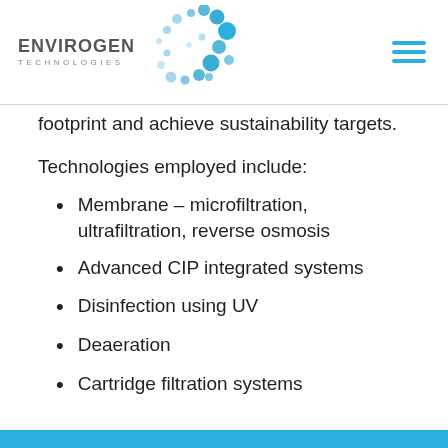[Figure (logo): Envirogen Technologies logo with blue bubble/dot graphic and company name]
footprint and achieve sustainability targets.
Technologies employed include:
Membrane – microfiltration, ultrafiltration, reverse osmosis
Advanced CIP integrated systems
Disinfection using UV
Deaeration
Cartridge filtration systems